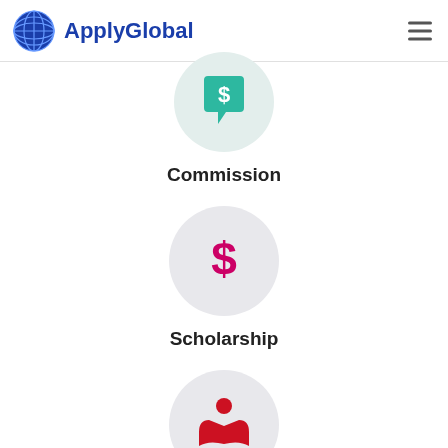ApplyGlobal
[Figure (illustration): Teal chat bubble icon with currency symbol inside a light teal/grey circle (partially visible at top)]
Commission
[Figure (illustration): Magenta/pink dollar sign icon inside a light grey circle]
Scholarship
[Figure (illustration): Red person reading a book icon inside a light grey circle (partially visible at bottom)]